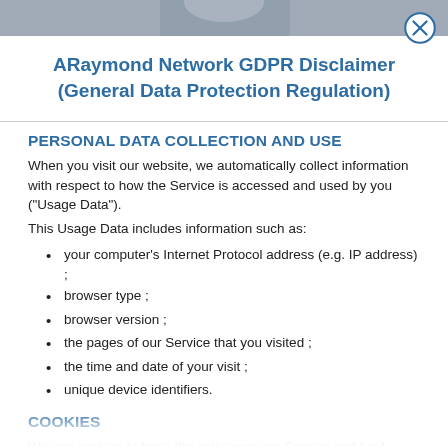[Figure (photo): Blurred background photo at the top of the modal dialog, showing partial view of a person or scene in gray tones.]
ARaymond Network GDPR Disclaimer (General Data Protection Regulation)
PERSONAL DATA COLLECTION AND USE
When you visit our website, we automatically collect information with respect to how the Service is accessed and used by you ("Usage Data").
This Usage Data includes information such as:
your computer's Internet Protocol address (e.g. IP address) ;
browser type ;
browser version ;
the pages of our Service that you visited ;
the time and date of your visit ;
unique device identifiers.
COOKIES
We use cookies to track the activity on our Service and hold certain information. Cookies are small files...